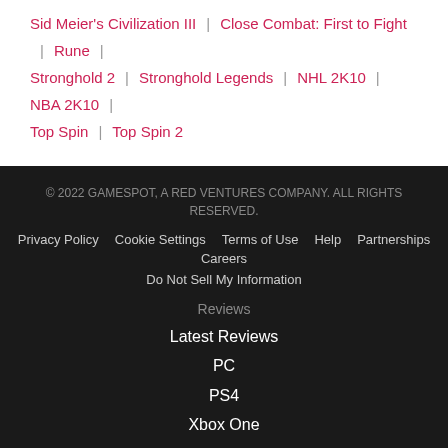Sid Meier's Civilization III | Close Combat: First to Fight | Rune |
Stronghold 2 | Stronghold Legends | NHL 2K10 | NBA 2K10 |
Top Spin | Top Spin 2
© 2022 GAMESPOT, A RED VENTURES COMPANY. ALL RIGHTS RESERVED.
Privacy Policy  Cookie Settings  Terms of Use  Help
Partnerships  Careers
Do Not Sell My Information
Reviews
Latest Reviews
PC
PS4
Xbox One